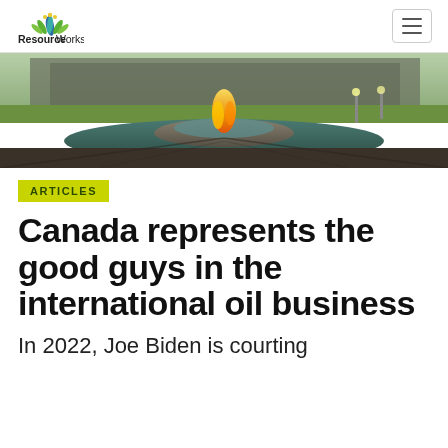Resource Works
[Figure (photo): Eternal flame fountain in front of a government building (Parliament Hill, Ottawa), with fire burning atop water, dramatic sky and green lawn in background]
ARTICLES
Canada represents the good guys in the international oil business
In 2022, Joe Biden is courting